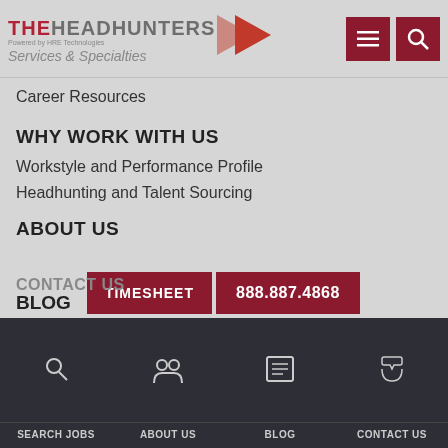THE HEADHUNTERS — Powered by HRE Technologies — Services & Specialties
Career Resources
WHY WORK WITH US
Workstyle and Performance Profile
Headhunting and Talent Sourcing
ABOUT US
Our Team
Join Our Team
News
BLOG
E-News Si...
CONTACT US
SEARCH JOBS | ABOUT US | BLOG | CONTACT US